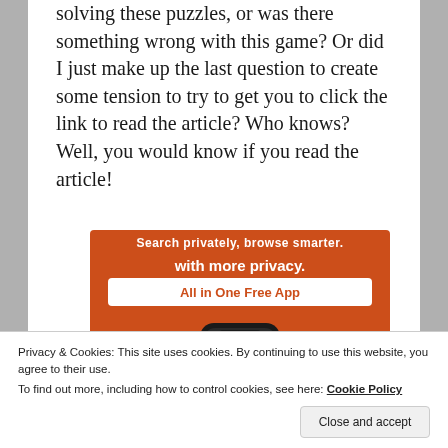solving these puzzles, or was there something wrong with this game? Or did I just make up the last question to create some tension to try to get you to click the link to read the article? Who knows? Well, you would know if you read the article!
[Figure (illustration): DuckDuckGo advertisement banner with orange background. Top text partially visible. Bold white text 'with more privacy.' and a white badge with orange text 'All in One Free App'. Below is an illustration of a dark smartphone showing the DuckDuckGo duck logo (white circle with orange duck wearing a green bowtie).]
Privacy & Cookies: This site uses cookies. By continuing to use this website, you agree to their use. To find out more, including how to control cookies, see here: Cookie Policy
Close and accept